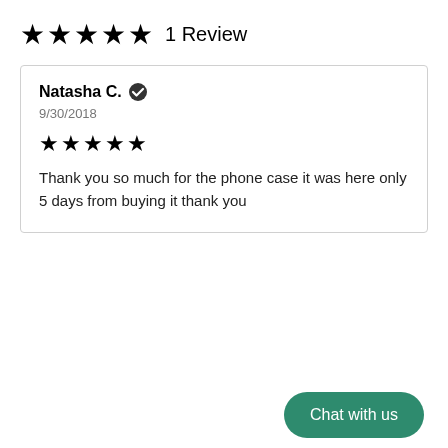★★★★★  1 Review
Natasha C. ✔
9/30/2018
★★★★★
Thank you so much for the phone case it was here only 5 days from buying it thank you
Chat with us